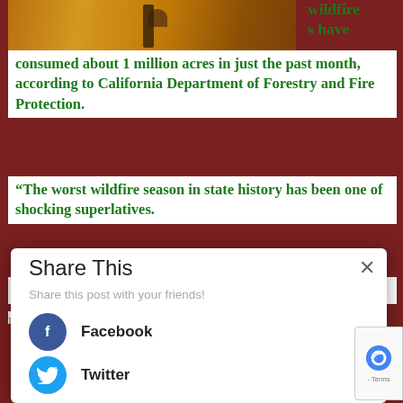[Figure (photo): Photograph of a wildfire scene with orange-tinted landscape, person standing in foreground]
wildfires have consumed about 1 million acres in just the past month, according to California Department of Forestry and Fire Protection.
“The worst wildfire season in state history has been one of shocking superlatives.
“CalFire reported Saturday that more than 4.1 [million...]
Share This
Share this post with your friends!
Facebook
Twitter